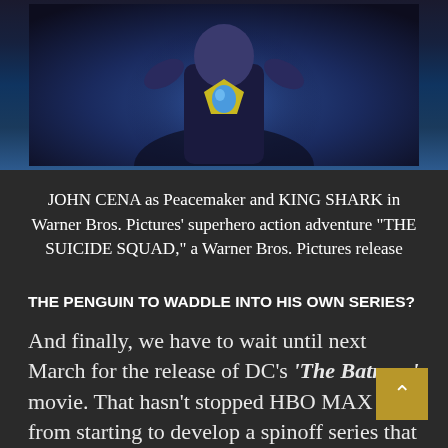[Figure (photo): A still from The Suicide Squad movie showing a character (Peacemaker / John Cena) holding King Shark, with a blue and yellow emblem visible. Dark cinematic blue tones.]
JOHN CENA as Peacemaker and KING SHARK in Warner Bros. Pictures’ superhero action adventure “THE SUICIDE SQUAD,” a Warner Bros. Pictures release
THE PENGUIN TO WADDLE INTO HIS OWN SERIES?
And finally, we have to wait until next March for the release of DC’s ‘The Batman’ movie. That hasn’t stopped HBO MAX from starting to develop a spinoff series that will center around the character of The Penguin. If the show does make it to the screen, it will be